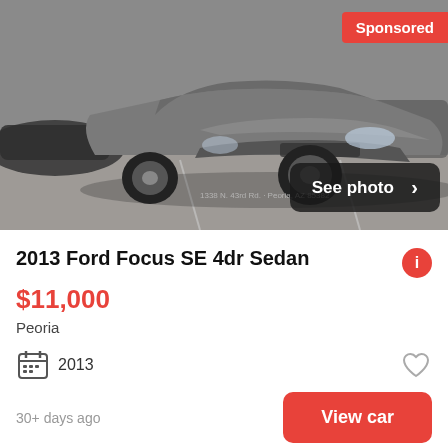[Figure (photo): Photo of a silver/gray 2013 Ford Focus SE 4dr Sedan parked in a dealership lot, with a 'Sponsored' badge in the top-right corner and a 'See photo >' button overlaid at the bottom-right.]
2013 Ford Focus SE 4dr Sedan
$11,000
Peoria
2013
30+ days ago
View car
[Figure (photo): Partial photo of a silver car parked next to a dark red/maroon car at a dealership, with a 'Sponsored' badge visible at the top-right corner.]